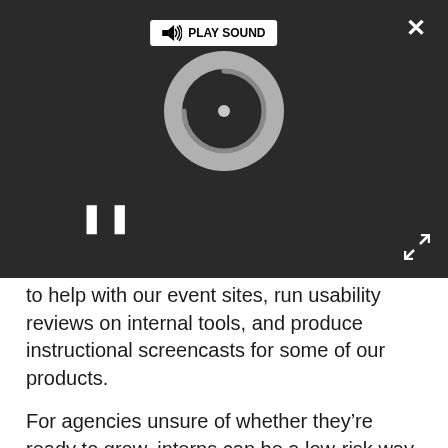[Figure (screenshot): Video player overlay on dark background showing a loading spinner, pause button, play sound button, close button (×), and fullscreen icon]
to help with our event sites, run usability reviews on internal tools, and produce instructional screencasts for some of our products.
For agencies unsure of whether they're ready to grow, interns can be a low-risk way to test the waters. They can also provide a pool of talent if you do decide you need to recruit. However, it's important to be honest with interns about their chances of landing a job from the outset: I've seen too many companies dangle the carrot of gainful long-term employment, only to snatch it away when the internship finishes. So